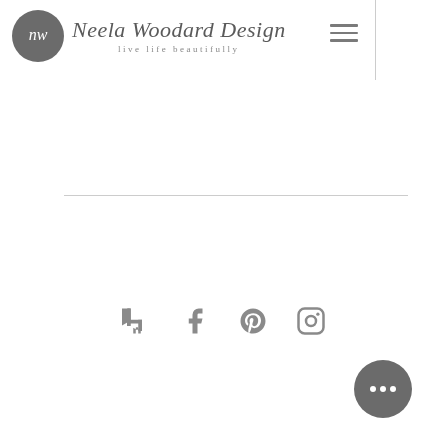[Figure (logo): Neela Woodard Design logo with circular monogram badge and script text reading 'Neela Woodard Design' with tagline 'live life beautifully']
[Figure (infographic): Hamburger menu icon (three horizontal lines) in the header navigation area]
[Figure (infographic): Horizontal divider line separating the upper content area from the lower content area]
[Figure (infographic): Row of four social media icons: Houzz (h), Facebook (f), Pinterest (P), Instagram (camera)]
[Figure (infographic): Dark grey circular button with three white dots (ellipsis/more options button) in the bottom right corner]